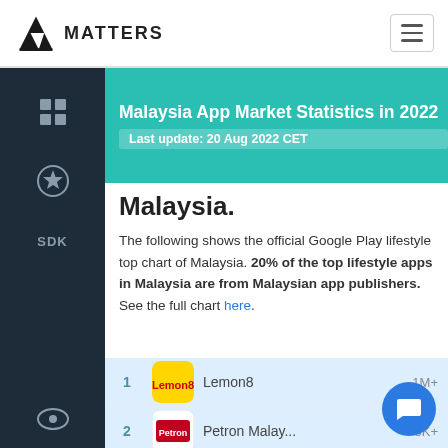42matters MATTERS
Malaysia App Market Statistics in 2022
Last update: 20 Aug 2022 CET
Malaysia.
The following shows the official Google Play lifestyle top chart of Malaysia. 20% of the top lifestyle apps in Malaysia are from Malaysian app publishers. See the full chart here.
| Rank | Icon | App Name | Downloads |
| --- | --- | --- | --- |
| 1 | Lemon8 logo | Lemon8 | 1M+ |
| 2 | Petron logo | Petron Malay... | 5K+ |
| 3 | 4D logo | Live 4D Resu... 🇲🇾 | 10M+ |
| 4 | Pinterest logo | Pinterest |  |
| 5 | Muslim Pro logo | Muslim Pro: ... |  |
| 6 | 7-Eleven logo | My7E 7-Eleve | 100K+ |